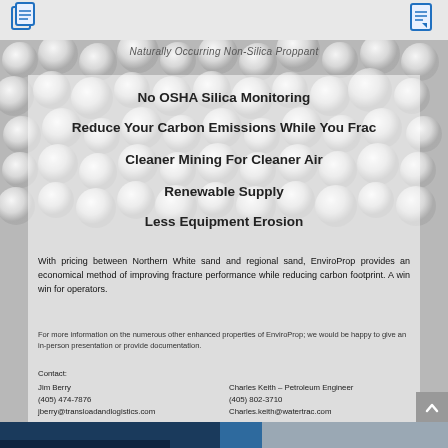[Document icons in header bar]
Naturally Occurring Non-Silica Proppant
No OSHA Silica Monitoring
Reduce Your Carbon Emissions While You Frac
Cleaner Mining For Cleaner Air
Renewable Supply
Less Equipment Erosion
With pricing between Northern White sand and regional sand, EnviroProp provides an economical method of improving fracture performance while reducing carbon footprint.  A win win for operators.
For more information on the numerous other enhanced properties of EnviroProp; we would be happy to give an in-person presentation or provide documentation.
Contact:
Jim Berry
(405) 474-7876
jberry@transloadandlogistics.com

Charles Keith – Petroleum Engineer
(405) 802-3710
Charles.keith@watertrac.com
LEARN MORE